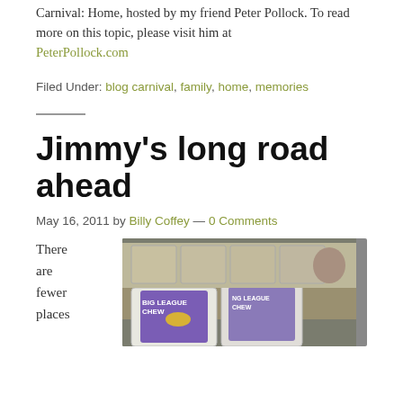Carnival: Home, hosted by my friend Peter Pollock. To read more on this topic, please visit him at PeterPollock.com
Filed Under: blog carnival, family, home, memories
Jimmy's long road ahead
May 16, 2011 by Billy Coffey — 0 Comments
There are fewer places
[Figure (photo): Photo of baseball card packs, showing Big League Chew branded card packs in boxes at what appears to be a sale or store display.]